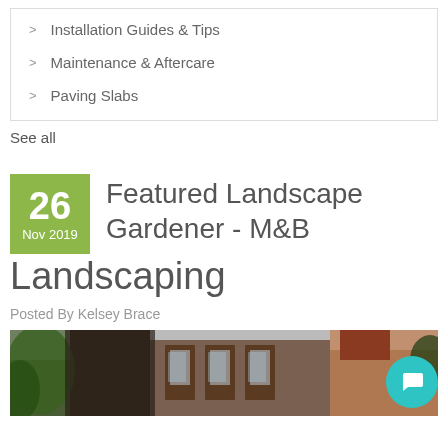Installation Guides & Tips
Maintenance & Aftercare
Paving Slabs
See all
Featured Landscape Gardener - M&B Landscaping
Posted By Kelsey Brace
[Figure (photo): Exterior garden/house photo showing brick building with plants and conservatory windows]